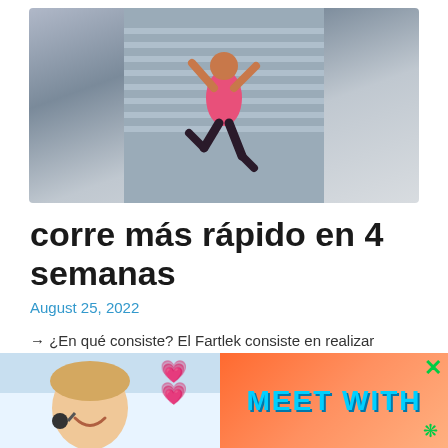[Figure (photo): Athlete in pink top jumping/hurdling in front of stadium bleachers]
corre más rápido en 4 semanas
August 25, 2022
→ ¿En qué consiste? El Fartlek consiste en realizar cambios de velocidad conforme avanzan los kilómetros del entrenamiento sin realizar paradas, de esta manera se van alternando periodos de
[Figure (photo): Advertisement banner: woman with headset smiling on left, pink hearts, orange/red background with 'MEET WITH' text in blue on right, green X close button]